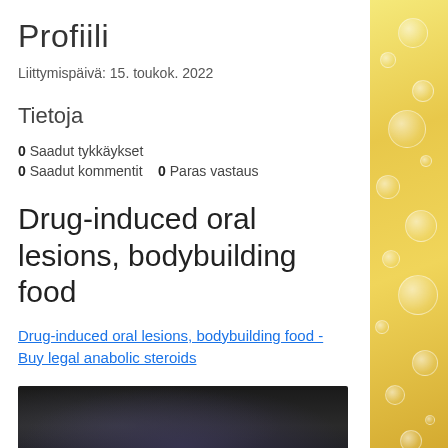Profiili
Liittymispäivä: 15. toukok. 2022
Tietoja
0 Saadut tykkäykset
0 Saadut kommentit    0 Paras vastaus
Drug-induced oral lesions, bodybuilding food
Drug-induced oral lesions, bodybuilding food - Buy legal anabolic steroids
[Figure (photo): Dark blurred image at bottom of page]